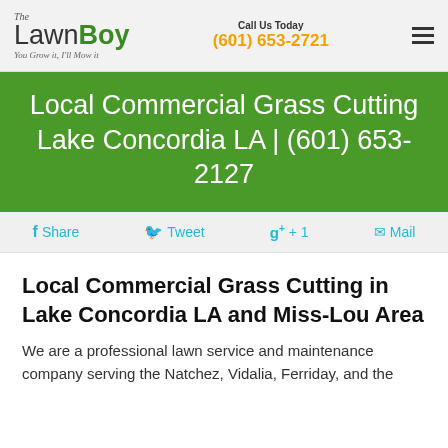The LawnBoy — You Grow it, I'll Mow it. Call Us Today (601) 653-2721
Local Commercial Grass Cutting Lake Concordia LA | (601) 653-2127
Share   Tweet   + 1   Mail
Local Commercial Grass Cutting in Lake Concordia LA and Miss-Lou Area
We are a professional lawn service and maintenance company serving the Natchez, Vidalia, Ferriday, and the